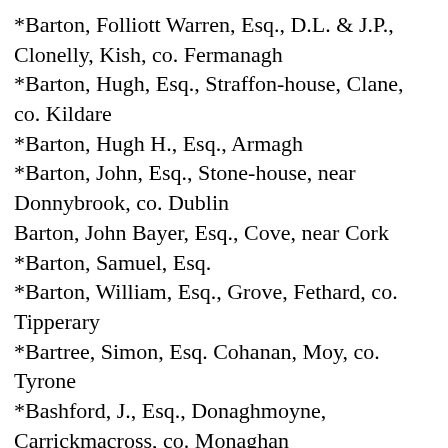*Barton, Folliott Warren, Esq., D.L. & J.P., Clonelly, Kish, co. Fermanagh
*Barton, Hugh, Esq., Straffon-house, Clane, co. Kildare
*Barton, Hugh H., Esq., Armagh
*Barton, John, Esq., Stone-house, near Donnybrook, co. Dublin
Barton, John Bayer, Esq., Cove, near Cork
*Barton, Samuel, Esq.
*Barton, William, Esq., Grove, Fethard, co. Tipperary
*Bartree, Simon, Esq. Cohanan, Moy, co. Tyrone
*Bashford, J., Esq., Donaghmoyne, Carrickmacross, co. Monaghan